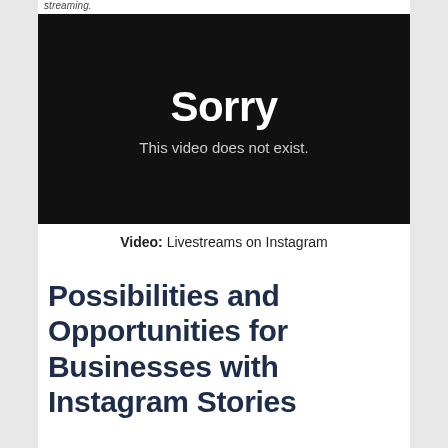streaming.
[Figure (screenshot): Black video placeholder screen showing 'Sorry' in large white bold text and 'This video does not exist.' in lighter smaller white text below]
Video: Livestreams on Instagram
Possibilities and Opportunities for Businesses with Instagram Stories